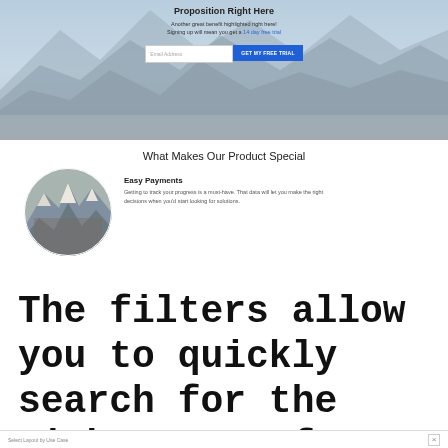[Figure (screenshot): Landing page screenshot showing a mountain background with a headline 'Proposition Right Here', benefit text, email input field, and a blue 'GET MY FREE TRIAL' button]
What Makes Our Product Special
[Figure (photo): Circular cropped photo of a snowy mountain peak]
Easy Payments
Getting to track your progress is a must-have. That data will let you make the right decisions when you'd start looking for solutions.
The filters allow you to quickly search for the right type of template when creating a landing page.
Select Layout by Use Case